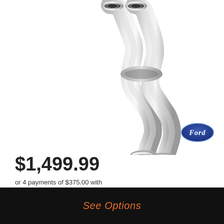[Figure (photo): Chrome/stainless steel exhaust pipes, dual exit, polished finish, photographed on white background. Ford oval logo badge in lower right area.]
$1,499.99
or 4 payments of $375.00 with afterpay Info
SKU: kitexhbabfutetbe
FORD FALCON BA BF UTE XR6T FPV 4 INCH TURBO BACK EXHAUST
See Options